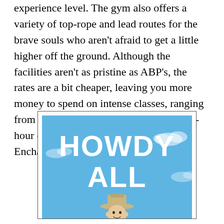experience level. The gym also offers a variety of top-rope and lead routes for the brave souls who aren't afraid to get a little higher off the ground. Although the facilities aren't as pristine as ABP's, the rates are a bit cheaper, leaving you more money to spend on intense classes, ranging from the four-week Climbing 101 to a 17-hour class that concludes with a trip to Enchanted Rock.
[Figure (illustration): Advertisement or book cover image with bright blue sky background showing the text 'HOWDY ALL' in large bold white letters, with a cowboy figure (man wearing a cowboy hat) visible at the bottom of the image. The image is framed with a thin border.]